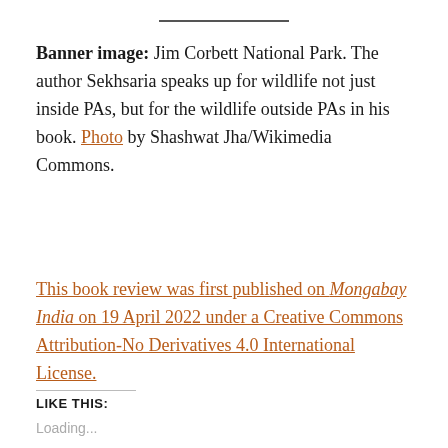Banner image: Jim Corbett National Park. The author Sekhsaria speaks up for wildlife not just inside PAs, but for the wildlife outside PAs in his book. Photo by Shashwat Jha/Wikimedia Commons.
This book review was first published on Mongabay India on 19 April 2022 under a Creative Commons Attribution-No Derivatives 4.0 International License.
LIKE THIS:
Loading...